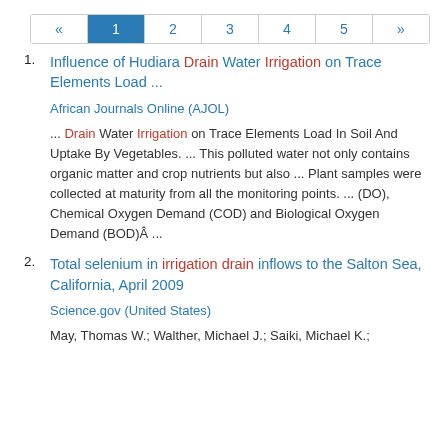« 1 2 3 4 5 »
1. Influence of Hudiara Drain Water Irrigation on Trace Elements Load ...

African Journals Online (AJOL)

... Drain Water Irrigation on Trace Elements Load In Soil And Uptake By Vegetables. ... This polluted water not only contains organic matter and crop nutrients but also ... Plant samples were collected at maturity from all the monitoring points. ... (DO), Chemical Oxygen Demand (COD) and Biological Oxygen Demand (BOD)Â ...
2. Total selenium in irrigation drain inflows to the Salton Sea, California, April 2009

Science.gov (United States)

May, Thomas W.; Walther, Michael J.; Saiki, Michael K.;